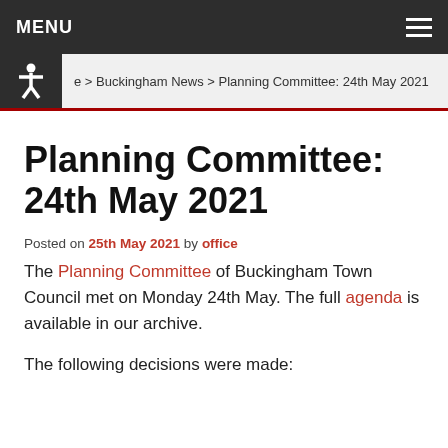MENU
e > Buckingham News > Planning Committee: 24th May 2021
Planning Committee: 24th May 2021
Posted on 25th May 2021 by office
The Planning Committee of Buckingham Town Council met on Monday 24th May. The full agenda is available in our archive.
The following decisions were made: